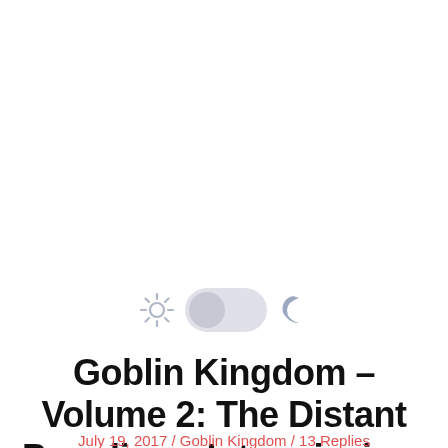[Figure (illustration): Light/dark mode toggle UI element: sun icon on the left, a toggle switch (in light/off position with knob on the left) in the center, and a crescent moon icon on the right.]
Goblin Kingdom – Volume 2: The Distant Paradise – Intermission: A Forged Strength
July 19, 2017 / Goblin Kingdom / 13 Replies